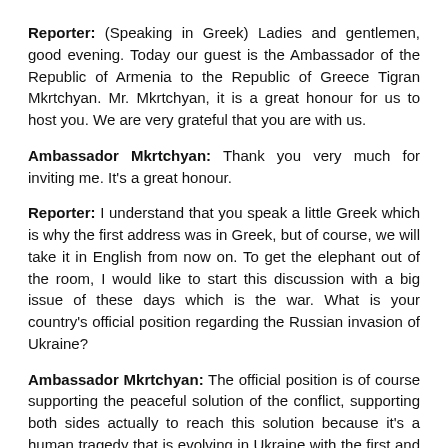Reporter: (Speaking in Greek) Ladies and gentlemen, good evening. Today our guest is the Ambassador of the Republic of Armenia to the Republic of Greece Tigran Mkrtchyan. Mr. Mkrtchyan, it is a great honour for us to host you. We are very grateful that you are with us.
Ambassador Mkrtchyan: Thank you very much for inviting me. It's a great honour.
Reporter: I understand that you speak a little Greek which is why the first address was in Greek, but of course, we will take it in English from now on. To get the elephant out of the room, I would like to start this discussion with a big issue of these days which is the war. What is your country's official position regarding the Russian invasion of Ukraine?
Ambassador Mkrtchyan: The official position is of course supporting the peaceful solution of the conflict, supporting both sides actually to reach this solution because it's a human tragedy that is evolving in Ukraine with the first and the third biggest Armenian communities in Europe. The